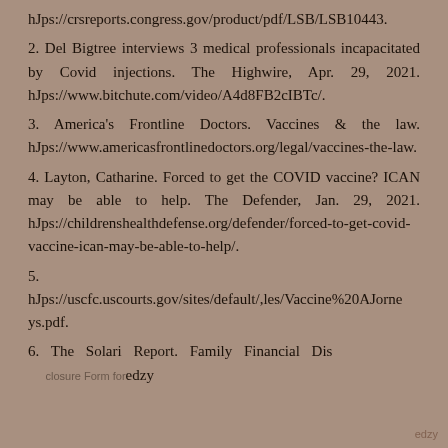hJps://crsreports.congress.gov/product/pdf/LSB/LSB10443.
2. Del Bigtree interviews 3 medical professionals incapacitated by Covid injections. The Highwire, Apr. 29, 2021. hJps://www.bitchute.com/video/A4d8FB2cIBTc/.
3. America's Frontline Doctors. Vaccines & the law. hJps://www.americasfrontlinedoctors.org/legal/vaccines-the-law.
4. Layton, Catharine. Forced to get the COVID vaccine? ICAN may be able to help. The Defender, Jan. 29, 2021. hJps://childrenshealthdefense.org/defender/forced-to-get-covid-vaccine-ican-may-be-able-to-help/.
5. hJps://uscfc.uscourts.gov/sites/default/,les/Vaccine%20AJorneys.pdf.
6. The Solari Report. Family Financial Disclosure Form for